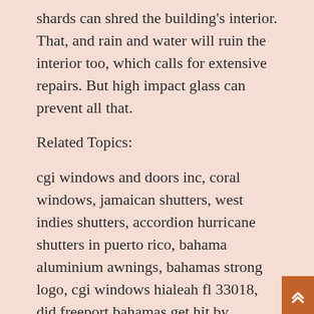shards can shred the building's interior. That, and rain and water will ruin the interior too, which calls for extensive repairs. But high impact glass can prevent all that.
Related Topics:
cgi windows and doors inc, coral windows, jamaican shutters, west indies shutters, accordion hurricane shutters in puerto rico, bahama aluminium awnings, bahamas strong logo, cgi windows hialeah fl 33018, did freeport bahamas get hit by hurricane irma, hurricane proof homes bahamas, leeward island hurricane shutters antigua, u buy u sell, ultimate windows